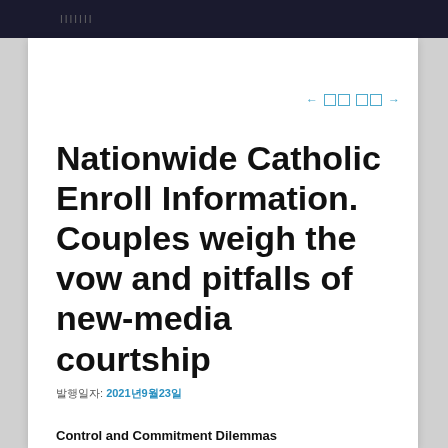IIIIIII
Nationwide Catholic Enroll Information. Couples weigh the vow and pitfalls of new-media courtship
발행일자: 2021년9월23일
Control and Commitment Dilemmas
Even Catholics who mean wedding might postpone it,